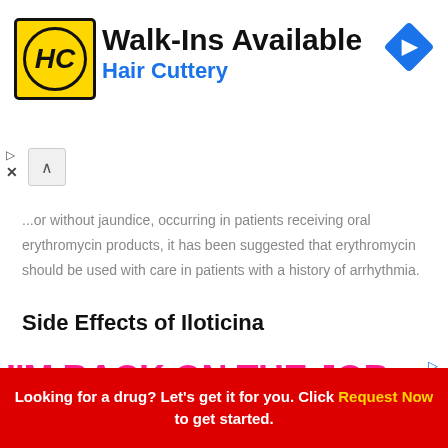[Figure (other): Hair Cuttery advertisement banner with HC logo, Walk-Ins Available text, and navigation icon]
...or without jaundice, occurring in patients receiving oral erythromycin products, it has been suggested that erythromycin should be used with care in patients with a history of arrhythmia.
Side Effects of Iloticina
[Figure (other): Advertisement banner: I'M BACK ON THE JOB MARKET & NEED A HEALTH PLAN.]
Looking for a drug? Let's get it for you. Click Request Now to get started.